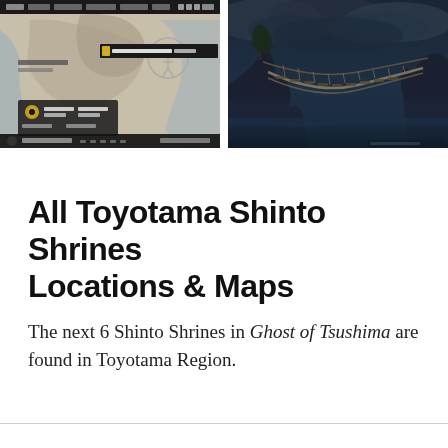[Figure (screenshot): Game UI screenshot showing a map screen from Ghost of Tsushima with sepia/monochrome tones, menu bar at top, character icon, and mission tracker panel]
[Figure (screenshot): In-game screenshot from Ghost of Tsushima showing a dark blue atmospheric scene with a rope bridge spanning rocky cliffs and stormy clouds]
All Toyotama Shinto Shrines Locations & Maps
The next 6 Shinto Shrines in Ghost of Tsushima are found in Toyotama Region.